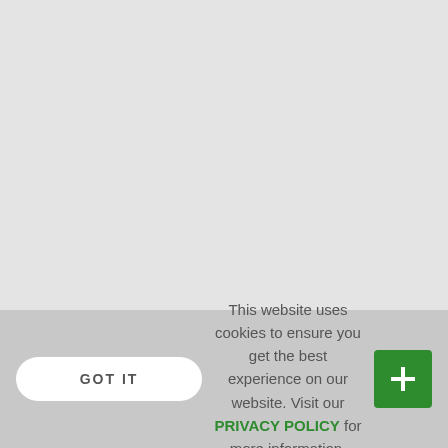[Figure (screenshot): Light gray empty upper area representing a blurred/empty webpage content area]
This website uses cookies to ensure you get the best experience on our website. Visit our PRIVACY POLICY for more information.
GOT IT
[Figure (illustration): Green square button with a white plus/cross icon]